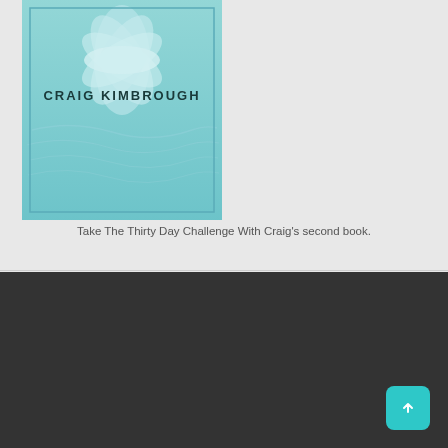[Figure (illustration): Book cover with teal/light blue background and lotus flower motif, showing author name CRAIG KIMBROUGH in bold dark letters]
Take The Thirty Day Challenge With Craig's second book.
[Figure (screenshot): Dark gray/charcoal background section at the bottom of the page with a teal scroll-to-top button in the lower right corner]